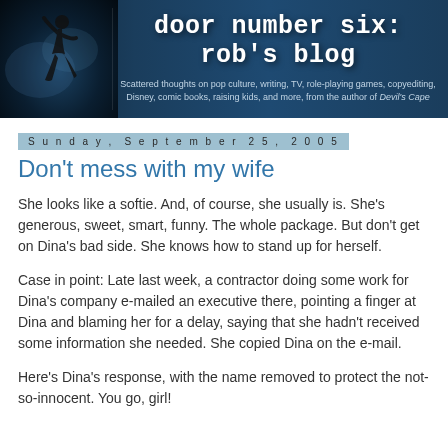[Figure (illustration): Blog banner header with dark blue background, silhouette of a running person on the left, and blog title 'door number six: rob's blog' in large white monospace font with subtitle about scattered thoughts on pop culture, writing, TV, role-playing games, copyediting, Disney, comic books, raising kids, and more, from the author of Devil's Cape]
Sunday, September 25, 2005
Don't mess with my wife
She looks like a softie. And, of course, she usually is. She's generous, sweet, smart, funny. The whole package. But don't get on Dina's bad side. She knows how to stand up for herself.
Case in point: Late last week, a contractor doing some work for Dina's company e-mailed an executive there, pointing a finger at Dina and blaming her for a delay, saying that she hadn't received some information she needed. She copied Dina on the e-mail.
Here's Dina's response, with the name removed to protect the not-so-innocent. You go, girl!